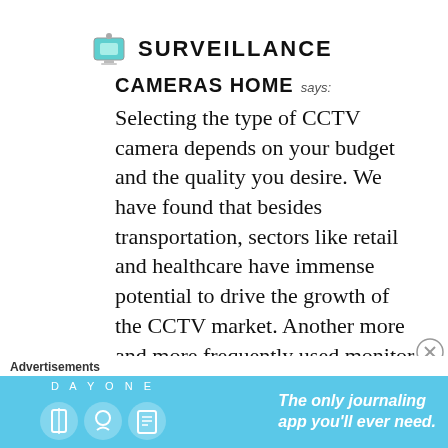SURVEILLANCE
CAMERAS HOME says:
Selecting the type of CCTV camera depends on your budget and the quality you desire. We have found that besides transportation, sectors like retail and healthcare have immense potential to drive the growth of the CCTV market. Another more and more frequently used monitor displaying is in supermarkets,
[Figure (other): Advertisement banner: DAY ONE journaling app — The only journaling app you'll ever need.]